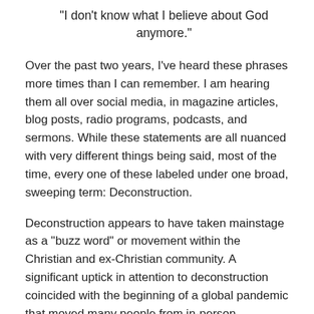“I don’t know what I believe about God anymore.”
Over the past two years, I’ve heard these phrases more times than I can remember. I am hearing them all over social media, in magazine articles, blog posts, radio programs, podcasts, and sermons. While these statements are all nuanced with very different things being said, most of the time, every one of these labeled under one broad, sweeping term: Deconstruction.
Deconstruction appears to have taken mainstage as a “buzz word” or movement within the Christian and ex-Christian community. A significant uptick in attention to deconstruction coincided with the beginning of a global pandemic that moved many people from in-person